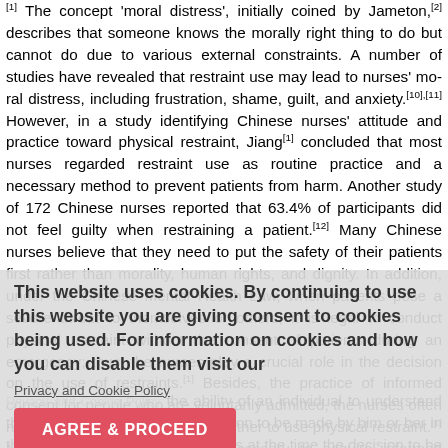[1] The concept 'moral distress', initially coined by Jameton,[2] describes that someone knows the morally right thing to do but cannot do due to various external constraints. A number of studies have revealed that restraint use may lead to nurses' moral distress, including frustration, shame, guilt, and anxiety.[10],[11] However, in a study identifying Chinese nurses' attitude and practice toward physical restraint, Jiang[1] concluded that most nurses regarded restraint use as routine practice and a necessary method to prevent patients from harm. Another study of 172 Chinese nurses reported that 63.4% of participants did not feel guilty when restraining a patient.[12] Many Chinese nurses believe that they need to put the safety of their patients first rather than morality, human rights, and dignity. In addition, under the Chinese Mental Health Law, when patients pose a severe threat to themselves or others, it is legal to conduct physical restraint without the consent of patients during an emergency; thus, the nurses play a crucial role in the decision on the use of restraints.[1] Besides, the practice of informed consent for people who are voluntarily admitted, the nurses often need to make the decision on whether to use physical restraint.[1] Most nurses believe it is unnecessary to acquire informed consent from the patients regardless of their clinical judgment once the patients are involuntarily admitted.
Privacy and Cookie Policy the ability of an individual to understand the nature and purpose of a decision to be made by him or her in the context of the available choices at the time the decision to be made.[14] Therefore, getting the informed consent of restraint from patient's family makes nurses feel less morally distressing when caring for restrained patients. Thus, the question to be discussed in this article is whether the nurses are ethically right to just acquire the consent of physical restraint from families rather than patients themselves when the patient...